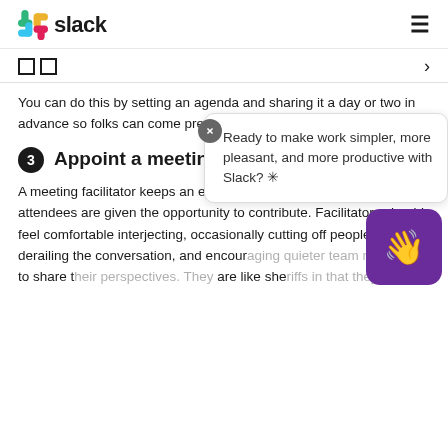slack
You can do this by setting an agenda and sharing it a day or two in advance so folks can come prepared to discuss.
3 Appoint a meeting facilitator
A meeting facilitator keeps an eye on the time and ensures that all attendees are given the opportunity to contribute. Facilitators should feel comfortable interjecting, occasionally cutting off people who are derailing the conversation, and encouraging quieter team members to share their perspectives. They are also like sheriffs in that they can t task at hand by protecting the boundaries of the